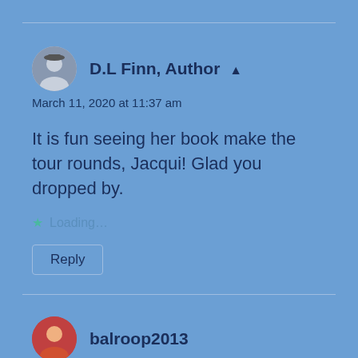D.L Finn, Author ▲
March 11, 2020 at 11:37 am
It is fun seeing her book make the tour rounds, Jacqui! Glad you dropped by.
Loading...
Reply
balroop2013
March 11, 2020 at 9:49 am